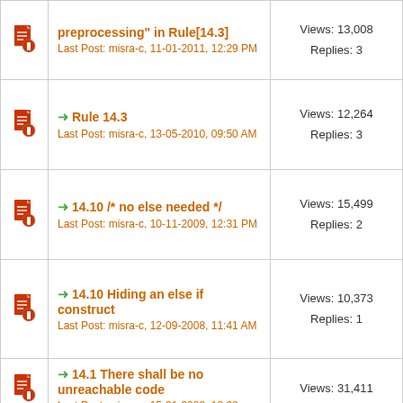preprocessing" in Rule[14.3] | Last Post: misra-c, 11-01-2011, 12:29 PM | Views: 13,008 | Replies: 3
Rule 14.3 | Last Post: misra-c, 13-05-2010, 09:50 AM | Views: 12,264 | Replies: 3
14.10 /* no else needed */ | Last Post: misra-c, 10-11-2009, 12:31 PM | Views: 15,499 | Replies: 2
14.10 Hiding an else if construct | Last Post: misra-c, 12-09-2008, 11:41 AM | Views: 10,373 | Replies: 1
14.1 There shall be no unreachable code | Last Post: ... | Views: 31,411 | Replies: ...